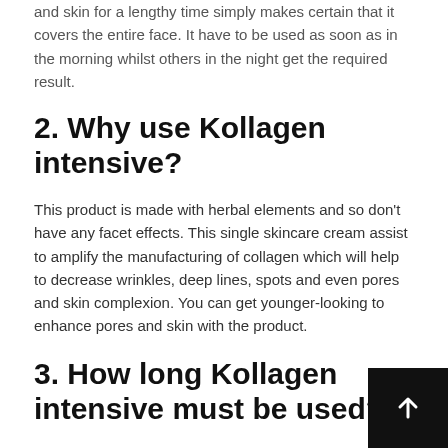and skin for a lengthy time simply makes certain that it covers the entire face. It have to be used as soon as in the morning whilst others in the night get the required result.
2. Why use Kollagen intensive?
This product is made with herbal elements and so don't have any facet effects. This single skincare cream assist to amplify the manufacturing of collagen which will help to decrease wrinkles, deep lines, spots and even pores and skin complexion. You can get younger-looking to enhance pores and skin with the product.
3. How long Kollagen intensive must be used?
According to producers the use of Kollagen intensive for a than three months in many instances will exhibit its effects. One would discover the distinction slowly however the required end